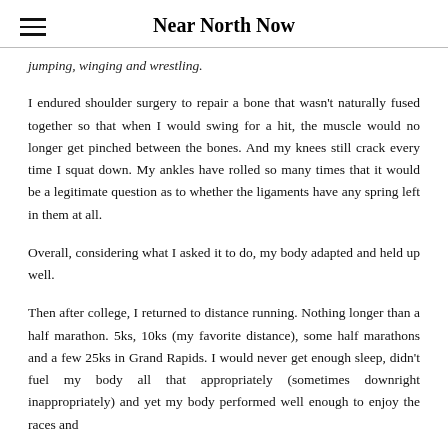Near North Now
jumping, winging and wrestling.
I endured shoulder surgery to repair a bone that wasn't naturally fused together so that when I would swing for a hit, the muscle would no longer get pinched between the bones. And my knees still crack every time I squat down. My ankles have rolled so many times that it would be a legitimate question as to whether the ligaments have any spring left in them at all.
Overall, considering what I asked it to do, my body adapted and held up well.
Then after college, I returned to distance running. Nothing longer than a half marathon. 5ks, 10ks (my favorite distance), some half marathons and a few 25ks in Grand Rapids. I would never get enough sleep, didn't fuel my body all that appropriately (sometimes downright inappropriately) and yet my body performed well enough to enjoy the races and